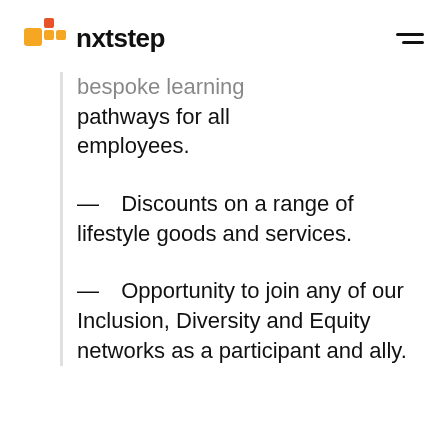nxtstep
bespoke learning pathways for all employees.
— Discounts on a range of lifestyle goods and services.
— Opportunity to join any of our Inclusion, Diversity and Equity networks as a participant and ally.